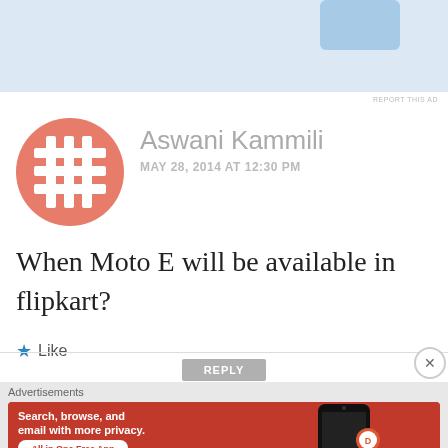[Figure (other): Top advertisement banner area with light blue background]
REPORT THIS AD
[Figure (illustration): Salmon/coral colored circular avatar with white crossword-like grid pattern]
Aswani Kammili
MAY 28, 2014 AT 12:30 PM
When Moto E will be available in flipkart?
★ Like
REPLY
Advertisements
[Figure (illustration): DuckDuckGo advertisement banner with orange/red background showing phone, text: Search, browse, and email with more privacy. All in One Free App. DuckDuckGo logo.]